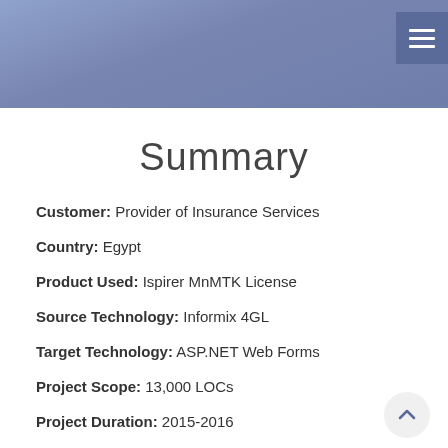[Figure (other): Blue/periwinkle gradient header banner with hamburger menu icon in top right corner]
Summary
Customer: Provider of Insurance Services
Country: Egypt
Product Used: Ispirer MnMTK License
Source Technology: Informix 4GL
Target Technology: ASP.NET Web Forms
Project Scope: 13,000 LOCs
Project Duration: 2015-2016